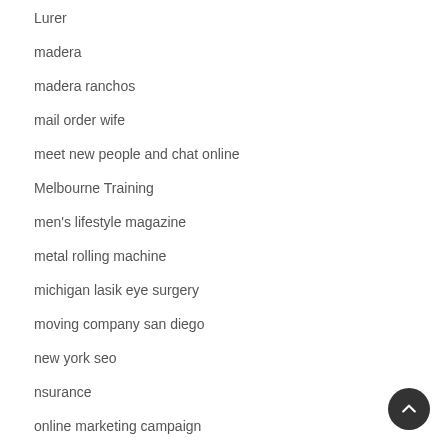Lurer
madera
madera ranchos
mail order wife
meet new people and chat online
Melbourne Training
men's lifestyle magazine
metal rolling machine
michigan lasik eye surgery
moving company san diego
new york seo
nsurance
online marketing campaign